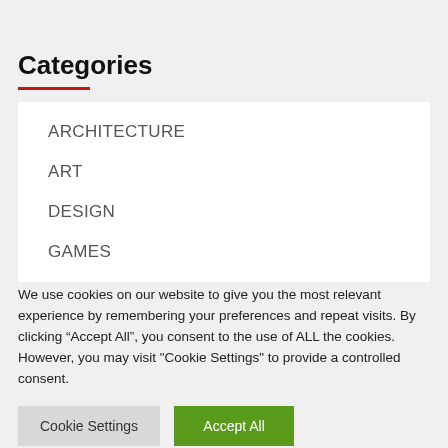Categories
ARCHITECTURE
ART
DESIGN
GAMES
We use cookies on our website to give you the most relevant experience by remembering your preferences and repeat visits. By clicking “Accept All”, you consent to the use of ALL the cookies. However, you may visit "Cookie Settings" to provide a controlled consent.
Cookie Settings | Accept All